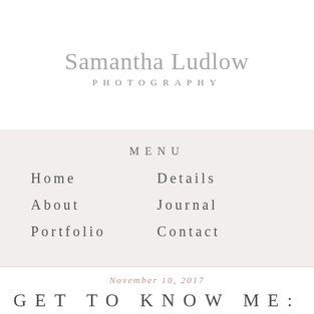Samantha Ludlow PHOTOGRAPHY
MENU
Home
Details
About
Journal
Portfolio
Contact
November 10, 2017
GET TO KNOW ME: